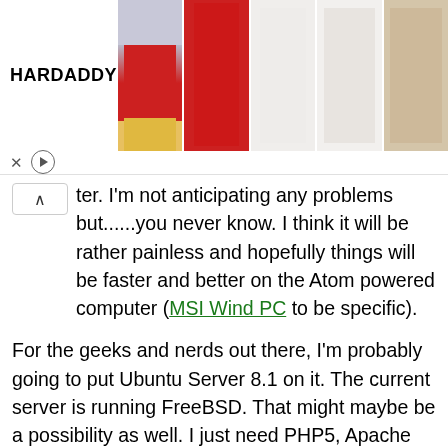[Figure (photo): HARDADDY clothing advertisement banner showing five men's shirts/hoodies in Christmas themed patterns]
ter. I'm not anticipating any problems but......you never know. I think it will be rather painless and hopefully things will be faster and better on the Atom powered computer (MSI Wind PC to be specific).
For the geeks and nerds out there, I'm probably going to put Ubuntu Server 8.1 on it. The current server is running FreeBSD. That might maybe be a possibility as well. I just need PHP5, Apache 2.2, and MySQL on it. We'll see what happens. The only real issue I think will be exporting the databases, though, since I moved everything to WordPress, that should be simple. It will be interesting to see exactly how much quieter (the current beast is really loud) and faster it will be. The only thing is that I'll be losing the RAID backup that I have on the current system. Not that it really has ever failed, once in